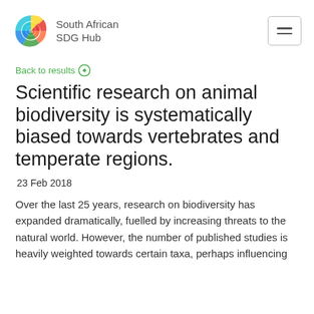[Figure (logo): South African SDG Hub logo with colorful circular design and text 'South African SDG Hub']
Back to results
Scientific research on animal biodiversity is systematically biased towards vertebrates and temperate regions.
23 Feb 2018
Over the last 25 years, research on biodiversity has expanded dramatically, fuelled by increasing threats to the natural world. However, the number of published studies is heavily weighted towards certain taxa, perhaps influencing